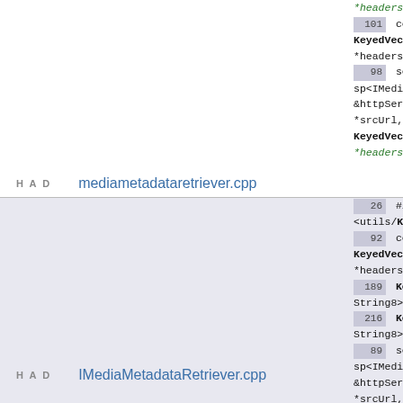*headers) argume
101 const KeyedVector<Stri *headers)
98 setDataSou sp<IMediaHTTPServ &httpService, co *srcUrl, const KeyedVector<Stri *headers) argume
HAD   mediametadataretriever.cpp
26 #include <utils/KeyedVecto
92 const KeyedVector<Stri *headers)
189 KeyedVecto String8> mMetada
216 KeyedVecto String8> headers
89 setDataSou sp<IMediaHTTPServ &httpService, co *srcUrl, const KeyedVector<Stri *headers) argume
HAD   IMediaMetadataRetriever.cpp